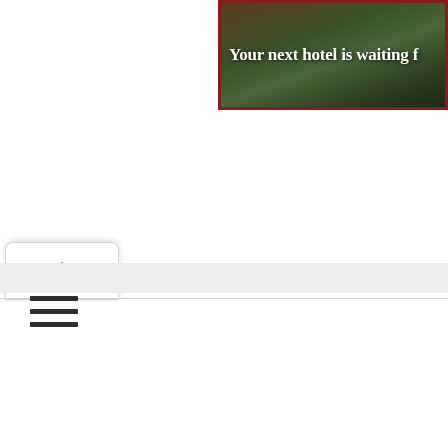[Figure (screenshot): Hotel advertisement banner with dark red border, hotel/resort background image, white bold serif text reading 'Your next hotel is waiting f' (truncated)]
[Figure (screenshot): UI tab with upward chevron arrow indicating collapsible panel]
[Figure (screenshot): Hamburger menu icon with three horizontal dark bars]
[Figure (screenshot): Light gray footer bar at bottom of content area]